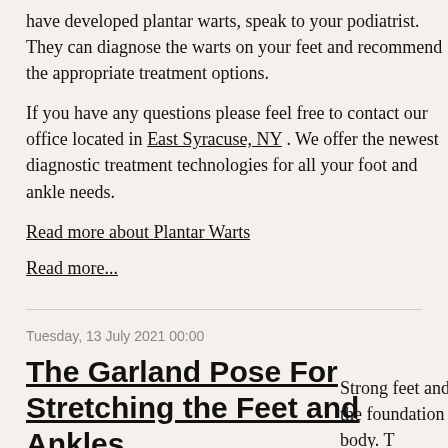have developed plantar warts, speak to your podiatrist. They can diagnose the warts on your feet and recommend the appropriate treatment options.
If you have any questions please feel free to contact our office located in East Syracuse, NY . We offer the newest diagnostic treatment technologies for all your foot and ankle needs.
Read more about Plantar Warts
Read more...
Tuesday, 13 July 2021 00:00
The Garland Pose For Stretching the Feet and Ankles
Strong feet and ankles are the foundation of a healthy body. T